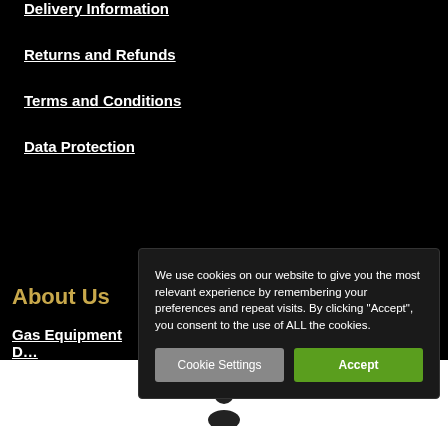Delivery Information
Returns and Refunds
Terms and Conditions
Data Protection
About Us
Gas Equipment D…
We use cookies on our website to give you the most relevant experience by remembering your preferences and repeat visits. By clicking "Accept", you consent to the use of ALL the cookies.
Cookie Settings | Accept